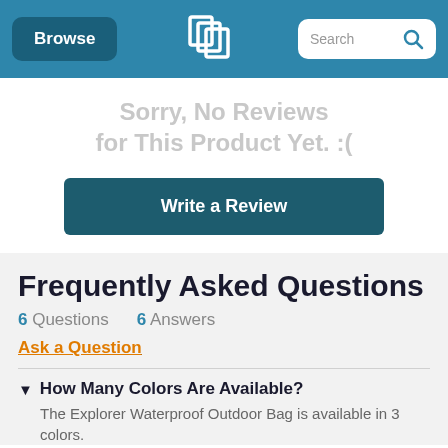Browse | [logo] | Search
Sorry, No Reviews for This Product Yet. :(
Write a Review
Frequently Asked Questions
6 Questions   6 Answers
Ask a Question
▼ How Many Colors Are Available?
The Explorer Waterproof Outdoor Bag is available in 3 colors.